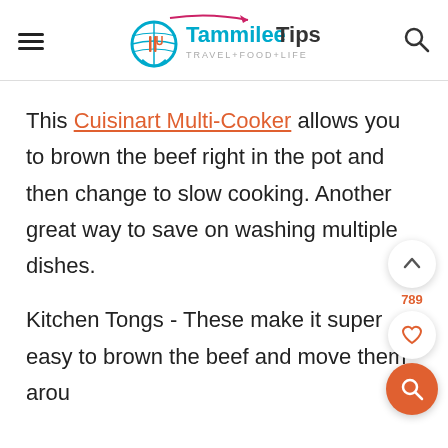Tammilee Tips — TRAVEL+FOOD+LIFE
This Cuisinart Multi-Cooker allows you to brown the beef right in the pot and then change to slow cooking. Another great way to save on washing multiple dishes.
Kitchen Tongs - These make it super easy to brown the beef and move them arou…